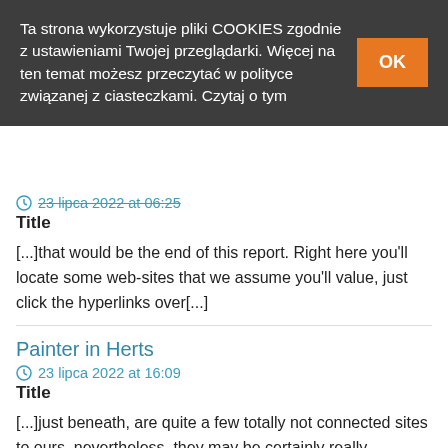Ta strona wykorzystuje pliki COOKIES zgodnie z ustawieniami Twojej przeglądarki. Więcej na ten temat możesz przeczytać w polityce związanej z ciasteczkami. Czytaj o tym
23 lipca 2022 at 06:25 (strikethrough)
Title
[...]that would be the end of this report. Right here you'll locate some web-sites that we assume you'll value, just click the hyperlinks over[...]
Painter in Herts
23 lipca 2022 at 16:09
Title
[...]just beneath, are quite a few totally not connected sites to ours, nevertheless, they may be certainly really